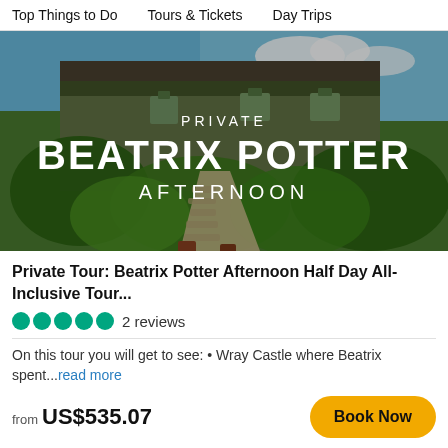Top Things to Do   Tours & Tickets   Day Trips
[Figure (photo): Photo of a stone cottage covered in green ivy and lush garden with a stone path, overlaid with text: PRIVATE BEATRIX POTTER AFTERNOON]
Private Tour: Beatrix Potter Afternoon Half Day All-Inclusive Tour...
●●●●● 2 reviews
On this tour you will get to see: • Wray Castle where Beatrix spent...read more
from US$535.07
Book Now